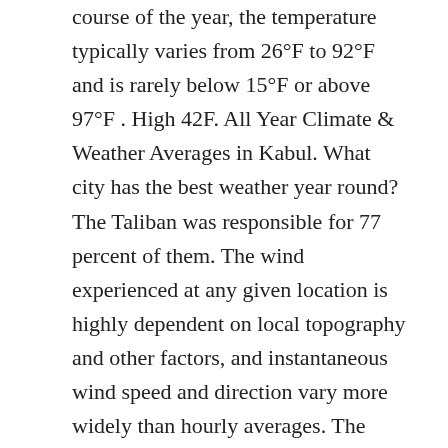course of the year, the temperature typically varies from 26°F to 92°F and is rarely below 15°F or above 97°F . High 42F. All Year Climate & Weather Averages in Kabul. What city has the best weather year round? The Taliban was responsible for 77 percent of them. The wind experienced at any given location is highly dependent on local topography and other factors, and instantaneous wind speed and direction vary more widely than hourly averages. The cloudier part of the year begins around November 10 and lasts for 6.0 months, ending around May 11. The estimated value at Tagāb is computed as the weighted average of the individual contributions from each station, with weights proportional to the inverse of the distance between Tagāb and a given station. Discussion Forum. The windiest day of the year is June 2, with an average hourly wind speed of 8.2 miles per hour. mm (4 in) of